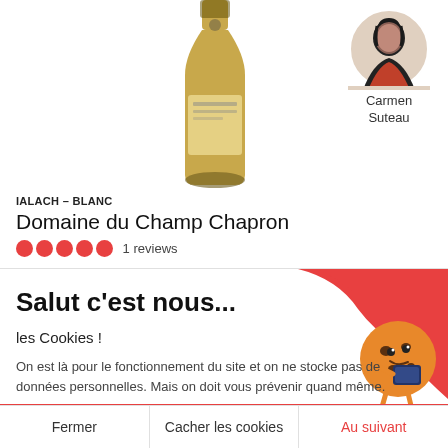[Figure (photo): Wine bottle with olive-colored label, partially visible top of bottle]
[Figure (photo): Circular avatar photo of Carmen Suteau]
Carmen Suteau
IALACH – BLANC
Domaine du Champ Chapron
1 reviews
Salut c'est nous...
les Cookies !
On est là pour le fonctionnement du site et on ne stocke pas de données personnelles. Mais on doit vous prévenir quand même.
Google Analytics
Consentements certifiés par axeptio
Fermer
Cacher les cookies
Au suivant